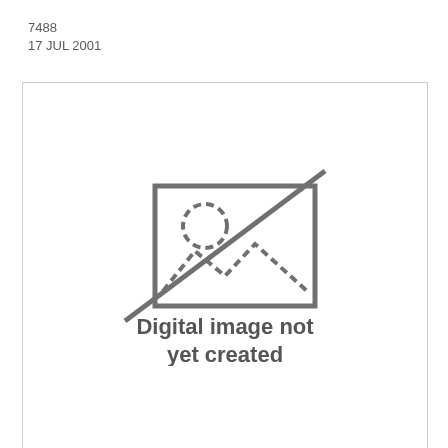7488
17 JUL 2001
[Figure (illustration): Placeholder image icon showing a rectangle with a diagonal line through it and a dashed circle (sun) and dashed mountain/landscape shape inside, indicating a missing digital image. Below the icon is text reading 'Digital image not yet created'.]